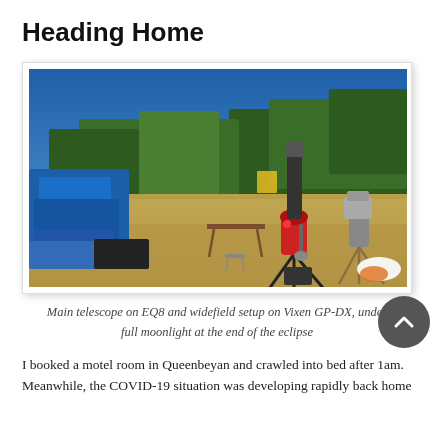Heading Home
[Figure (photo): Outdoor photograph showing two telescope setups on tripods in a dry grassy field. On the left is a blue pickup truck. The main telescope is mounted on an EQ8 mount, and there is a widefield setup on a Vixen GP-DX tripod to the right. Trees line the background under a clear blue sky. A wooden camp table and equipment cases are visible.]
Main telescope on EQ8 and widefield setup on Vixen GP-DX, under full moonlight at the end of the eclipse
I booked a motel room in Queenbeyan and crawled into bed after 1am. Meanwhile, the COVID-19 situation was developing rapidly back home